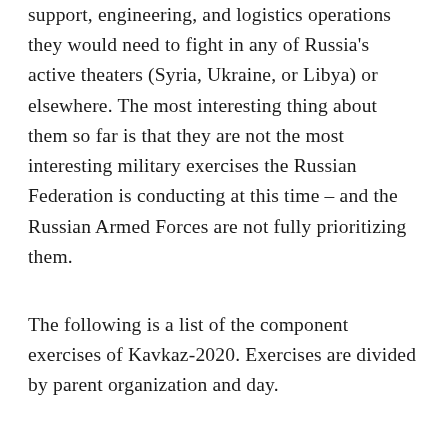support, engineering, and logistics operations they would need to fight in any of Russia's active theaters (Syria, Ukraine, or Libya) or elsewhere. The most interesting thing about them so far is that they are not the most interesting military exercises the Russian Federation is conducting at this time – and the Russian Armed Forces are not fully prioritizing them.
The following is a list of the component exercises of Kavkaz-2020. Exercises are divided by parent organization and day.